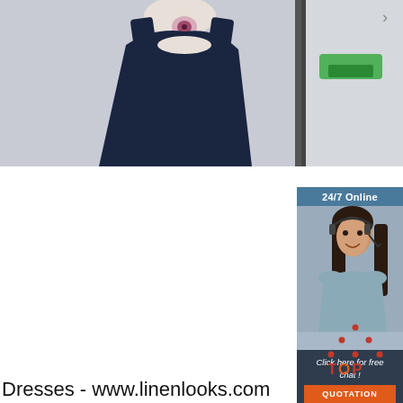[Figure (photo): Fashion photo showing a dark navy dress/top on a mannequin with a pink brooch detail, partial view of a second product photo on the right with a green logo visible]
[Figure (infographic): Customer support chat widget with dark blue background, showing '24/7 Online' header, a smiling female customer service representative wearing a headset, 'Click here for free chat!' text, and an orange QUOTATION button]
[Figure (illustration): Red/orange 'TOP' back-to-top icon with dots arranged in a triangle above the word TOP with letter O in orange]
Dresses - www.linenlooks.com